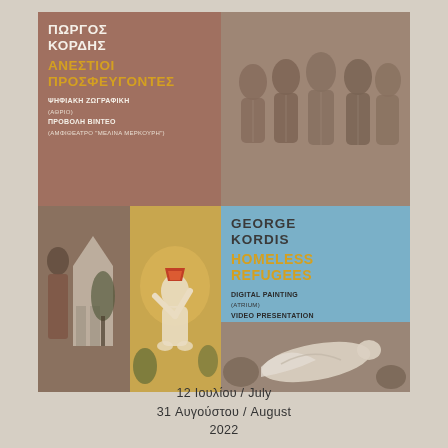[Figure (illustration): Exhibition poster for George Kordis 'Homeless Refugees' art show. Left panel in terracotta/brown: Greek text 'ΠΩΡΓΟΣ ΚΟΡΔΗΣ' and 'ΑΝΕΣΤΙΟΙ ΠΡΟΣΦΕΥΓΟΝΤΕΣ' in gold, with subtitle info about digital painting and video presentation. Right top: illustration of stylized figures in brown tones. Right middle panel in light blue: English text 'GEORGE KORDIS' and 'HOMELESS REFUGEES' in gold, subtitle info. Bottom left: two artwork panels with figures and scenes. Bottom right: artwork of reclining figure.]
12 Ιουλίου / July
31 Αυγούστου / August
2022